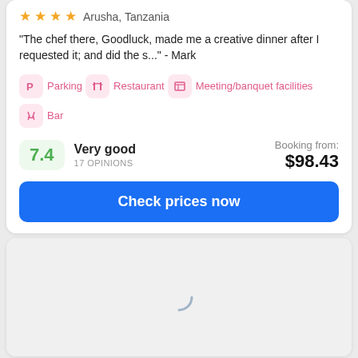Arusha, Tanzania
"The chef there, Goodluck, made me a creative dinner after I requested it; and did the s..." - Mark
Parking
Restaurant
Meeting/banquet facilities
Bar
7.4 Very good 17 OPINIONS
Booking from: $98.43
Check prices now
[Figure (other): Loading map placeholder with spinner]